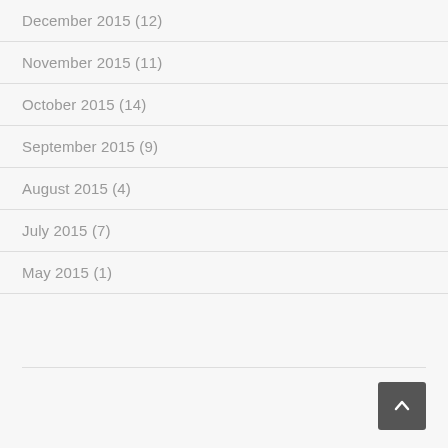December 2015 (12)
November 2015 (11)
October 2015 (14)
September 2015 (9)
August 2015 (4)
July 2015 (7)
May 2015 (1)